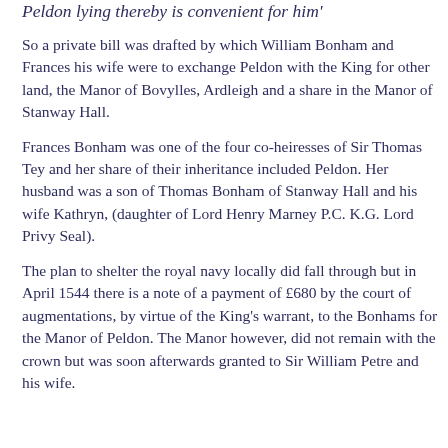Peldon lying thereby is convenient for him'
So a private bill was drafted by which William Bonham and Frances his wife were to exchange Peldon with the King for other land, the Manor of Bovylles, Ardleigh and a share in the Manor of Stanway Hall.
Frances Bonham was one of the four co-heiresses of Sir Thomas Tey and her share of their inheritance included Peldon. Her husband was a son of Thomas Bonham of Stanway Hall and his wife Kathryn, (daughter of Lord Henry Marney P.C. K.G. Lord Privy Seal).
The plan to shelter the royal navy locally did fall through but in April 1544 there is a note of a payment of £680 by the court of augmentations, by virtue of the King's warrant, to the Bonhams for the Manor of Peldon. The Manor however, did not remain with the crown but was soon afterwards granted to Sir William Petre and his wife.